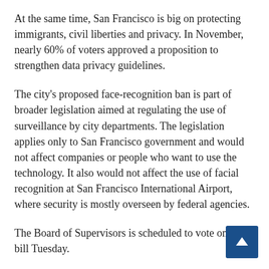At the same time, San Francisco is big on protecting immigrants, civil liberties and privacy. In November, nearly 60% of voters approved a proposition to strengthen data privacy guidelines.
The city's proposed face-recognition ban is part of broader legislation aimed at regulating the use of surveillance by city departments. The legislation applies only to San Francisco government and would not affect companies or people who want to use the technology. It also would not affect the use of facial recognition at San Francisco International Airport, where security is mostly overseen by federal agencies.
The Board of Supervisors is scheduled to vote on the bill Tuesday.
San Francisco police say they stopped testing face recognition in 2017. Spokesman David Stevenson said in a statement the department looks forward to “developing legislation that addresses the privacy concerns of technology while balancing